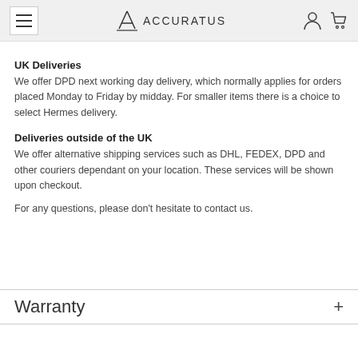Accuratus — navigation header with hamburger menu, logo, user and cart icons
UK Deliveries
We offer DPD next working day delivery, which normally applies for orders placed Monday to Friday by midday. For smaller items there is a choice to select Hermes delivery.
Deliveries outside of the UK
We offer alternative shipping services such as DHL, FEDEX, DPD and other couriers dependant on your location. These services will be shown upon checkout.
For any questions, please don't hesitate to contact us.
Warranty